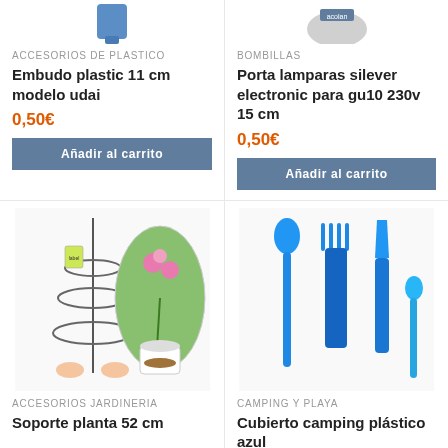[Figure (photo): Blue plastic funnel product image (top cropped)]
[Figure (photo): Gray lamp holder product image (top cropped)]
ACCESORIOS DE PLASTICO
Embudo plastic 11 cm modelo udai
0,50€
Añadir al carrito
BOMBILLAS
Porta lamparas silever electronic para gu10 230v 15 cm
0,50€
Añadir al carrito
[Figure (photo): Plant support 52cm with metal rings and oval photo of pink flower in pot]
[Figure (photo): Blue plastic cutlery set: spoon, fork, knife, teaspoon]
ACCESORIOS JARDINERIA
Soporte planta 52 cm
CAMPING Y PLAYA
Cubierto camping plástico azul